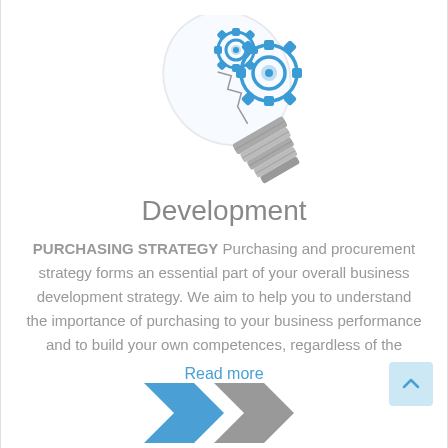[Figure (illustration): Light bulb lying on its side with blue gear/cog icons inside the glass bulb, representing innovation and development]
Development
PURCHASING STRATEGY Purchasing and procurement strategy forms an essential part of your overall business development strategy. We aim to help you to understand the importance of purchasing to your business performance and to build your own competences, regardless of the
Read more
[Figure (illustration): Partial view of blue and grey arrow/chevron shapes at the bottom of the page]
[Figure (illustration): Light blue back-to-top button with upward chevron arrow in bottom right corner]